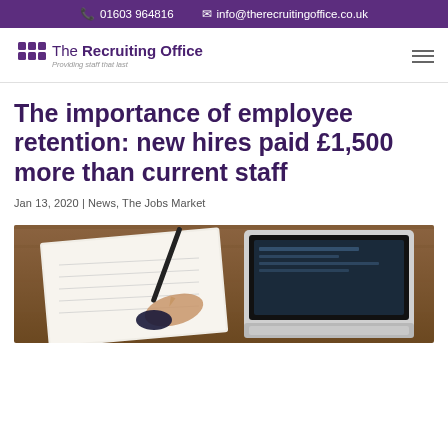01603 964816  info@therecruitingoffice.co.uk
[Figure (logo): The Recruiting Office logo with tagline 'Providing staff that last']
The importance of employee retention: new hires paid £1,500 more than current staff
Jan 13, 2020 | News, The Jobs Market
[Figure (photo): A person writing on a clipboard with a laptop and other documents on a wooden desk]